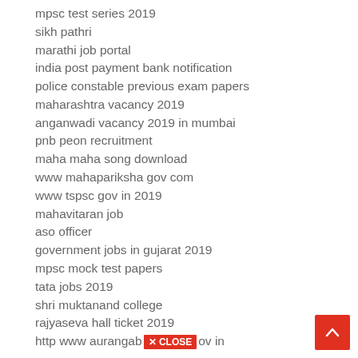mpsc test series 2019
sikh pathri
marathi job portal
india post payment bank notification
police constable previous exam papers
maharashtra vacancy 2019
anganwadi vacancy 2019 in mumbai
pnb peon recruitment
maha maha song download
www mahapariksha gov com
www tspsc gov in 2019
mahavitaran job
aso officer
government jobs in gujarat 2019
mpsc mock test papers
tata jobs 2019
shri muktanand college
rajyaseva hall ticket 2019
http www aurangabo gov in